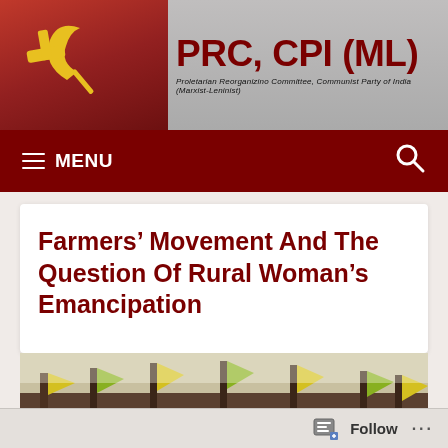PRC, CPI (ML) — Proletarian Reorganizino Committee, Communist Party of India (Marxist-Leninist)
Farmers' Movement And The Question Of Rural Woman's Emancipation
[Figure (photo): Large crowd of farmers at a rally, holding yellow and green flags, many women visible in the crowd.]
Follow